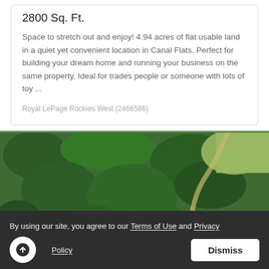2800 Sq. Ft.
Space to stretch out and enjoy! 4.94 acres of flat usable land in a quiet yet convenient location in Canal Flats. Perfect for building your dream home and running your business on the same property. Ideal for trades people or someone with lots of toy ...
Royal LePage Rockies West (2466586)
[Figure (photo): Aerial drone photo showing a forested rural area in Canal Flats with evergreen trees, a winding road, scattered buildings, and open fields in the background.]
By using our site, you agree to our Terms of Use and Privacy Policy
Dismiss